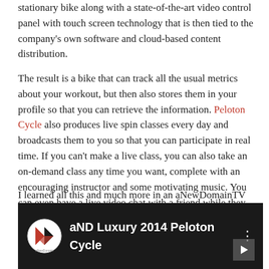stationary bike along with a state-of-the-art video control panel with touch screen technology that is then tied to the company's own software and cloud-based content distribution.
The result is a bike that can track all the usual metrics about your workout, but then also stores them in your profile so that you can retrieve the information. Peloton Cycle also produces live spin classes every day and broadcasts them to you so that you can participate in real time. If you can't make a live class, you can also take an on-demand class any time you want, complete with an encouraging instructor and some motivating music. You can even have a live video chat with a friend while they are on their Peloton bike.
I learned all this and much more in an aNewDomainTV video interview I conducted with Peloton Cycle's founder and CEO John Foley. Check it out below.
[Figure (screenshot): Video thumbnail showing aND Luxury 2014 Peloton Cycle with logo on dark background]